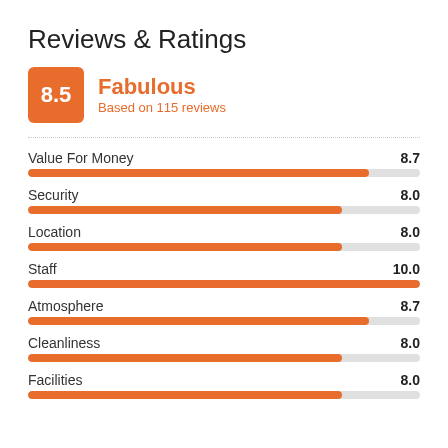Reviews & Ratings
[Figure (infographic): Score badge showing 8.5 in orange square, with 'Fabulous' in orange and 'Based on 115 reviews' below]
[Figure (bar-chart): Category Ratings]